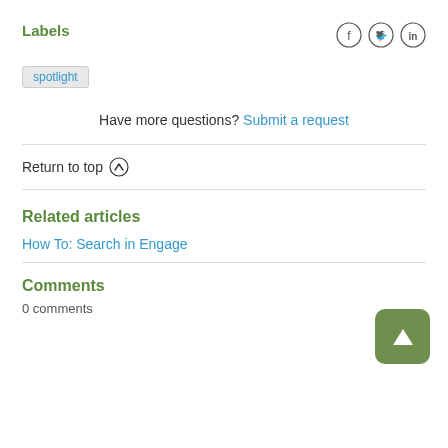Labels
[Figure (other): Social media icons: Facebook, Twitter, LinkedIn]
spotlight
Have more questions? Submit a request
Return to top ↑
Related articles
How To: Search in Engage
[Figure (other): Back to top button, green rounded square with upward arrow]
Comments
0 comments